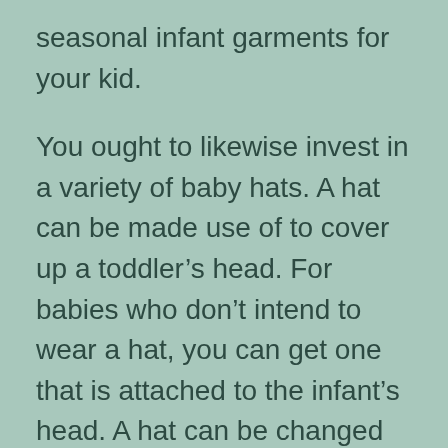seasonal infant garments for your kid.
You ought to likewise invest in a variety of baby hats. A hat can be made use of to cover up a toddler's head. For babies who don't intend to wear a hat, you can get one that is attached to the infant's head. A hat can be changed quickly to fit the expanding kid. If you want to prevent a drooping wig, obtain a hooded hat.
A fundamental infant wardrobe should consist of three to 5 receiving coverings, 2 hooded towels, six pairs of socks, a one-piece outfit, as